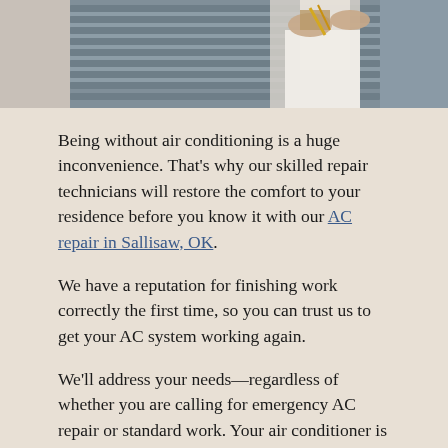[Figure (photo): A technician working on an AC/HVAC unit with metal vents visible in the background, person wearing a white t-shirt and working with tools.]
Being without air conditioning is a huge inconvenience. That's why our skilled repair technicians will restore the comfort to your residence before you know it with our AC repair in Sallisaw, OK.
We have a reputation for finishing work correctly the first time, so you can trust us to get your AC system working again.
We'll address your needs—regardless of whether you are calling for emergency AC repair or standard work. Your air conditioner is in experienced hands when you contact Air